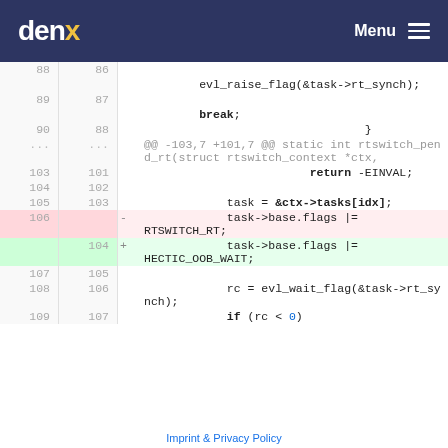denx Menu
[Figure (screenshot): Git diff view showing code changes in a C source file. Lines 88-109 visible. Line 106 removed (task->base.flags |= RTSWITCH_RT;), line 104 added (task->base.flags |= HECTIC_OOB_WAIT;). Code includes evl_raise_flag, break, return -EINVAL, task = &ctx->tasks[idx], rc = evl_wait_flag, if (rc < 0).]
Imprint & Privacy Policy